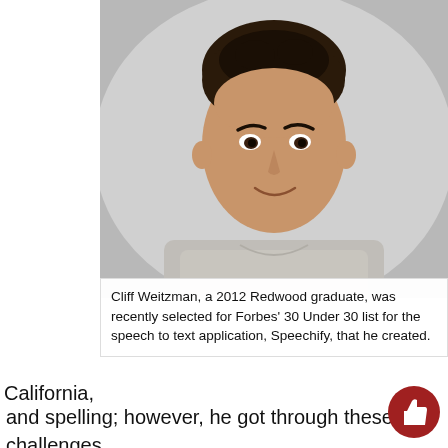[Figure (photo): Headshot portrait of a young man with dark curly hair, smiling, wearing a light grey t-shirt, photographed against a neutral grey background.]
Cliff Weitzman, a 2012 Redwood graduate, was recently selected for Forbes' 30 Under 30 list for the speech to text application, Speechify, that he created.
California, and spelling; however, he got through these challenges in high school by listening to audiobooks instead of reading. He first began developing the Speechify application for personal use during the summer before